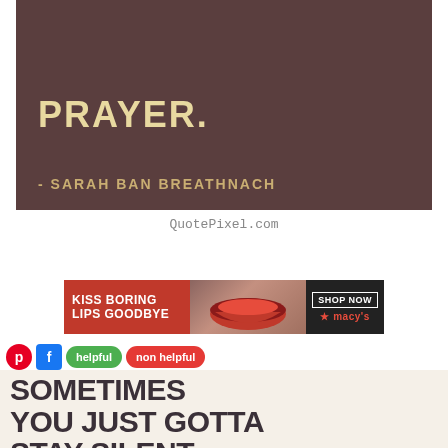[Figure (illustration): Dark brown/maroon quote graphic with text 'PRAYER.' in large golden-tan bold letters, and attribution '- SARAH BAN BREATHNACH' in smaller gold letters at the bottom]
QuotePixel.com
[Figure (illustration): Macy's advertisement banner showing 'KISS BORING LIPS GOODBYE' text on red background, woman's face/lips in center, and 'SHOP NOW' button with Macy's star logo on right]
[Figure (screenshot): Social media sharing bar with Pinterest (red circle P), Facebook (blue square f), green 'helpful' button, and red 'non helpful' button]
SOMETIMES YOU JUST GOTTA STAY SILENT